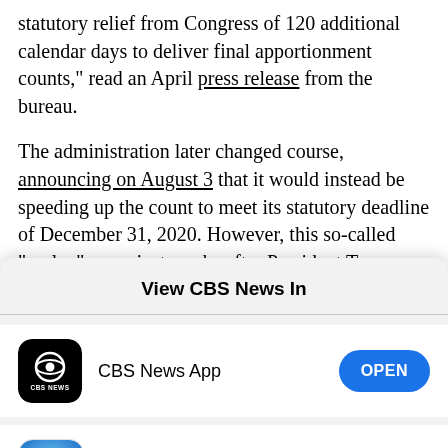statutory relief from Congress of 120 additional calendar days to deliver final apportionment counts," read an April press release from the bureau.
The administration later changed course, announcing on August 3 that it would instead be speeding up the count to meet its statutory deadline of December 31, 2020. However, this so-called "replan" came just weeks after President Trump
View CBS News In
CBS News App — OPEN
Safari — CONTINUE